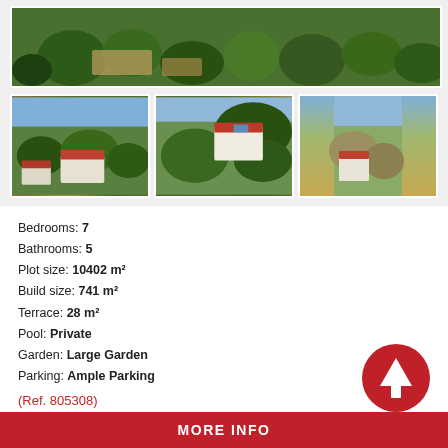[Figure (photo): Aerial drone photo of rural property with orange/olive trees and buildings with red roofs, top wide image]
[Figure (photo): Aerial photo of country house with red roof, pool, and surrounding trees - left thumbnail]
[Figure (photo): Aerial photo of white country house with red roof surrounded by olive/orange grove - middle thumbnail]
[Figure (photo): Partial aerial photo of hillside town - right thumbnail (cropped)]
Bedrooms: 7
Bathrooms: 5
Plot size: 10402 m²
Build size: 741 m²
Terrace: 28 m²
Pool: Private
Garden: Large Garden
Parking: Ample Parking
(Ref. 805308)
MORE INFO